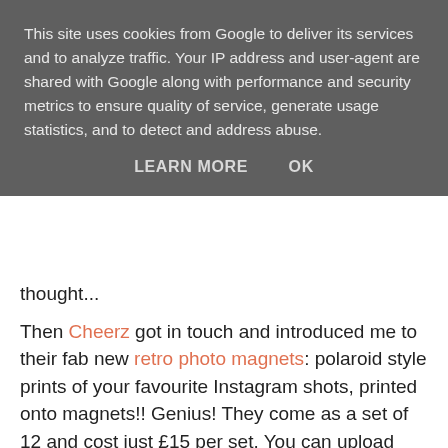This site uses cookies from Google to deliver its services and to analyze traffic. Your IP address and user-agent are shared with Google along with performance and security metrics to ensure quality of service, generate usage statistics, and to detect and address abuse.
LEARN MORE   OK
thought...
Then Cheerz got in touch and introduced me to their fab new retro photo magnets: polaroid style prints of your favourite Instagram shots, printed onto magnets!! Genius! They come as a set of 12 and cost just £15 per set. You can upload your pictures directly from your social media accounts, add captions, and choose either a black, white or coloured background - then the clever people over at Cheerz will print them and send them in the post to you and before you know it you'll be funking up your fridge or freezer with some marvellous magnetic creations.
They were kind enough to send me over a set to try out, and